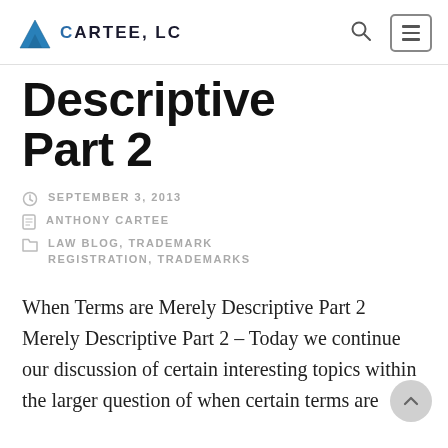Cartee, LC
Descriptive Part 2
SEPTEMBER 3, 2013
ANTHONY CARTEE
LAW BLOG, TRADEMARK REGISTRATION, TRADEMARKS
When Terms are Merely Descriptive Part 2 Merely Descriptive Part 2 – Today we continue our discussion of certain interesting topics within the larger question of when certain terms are